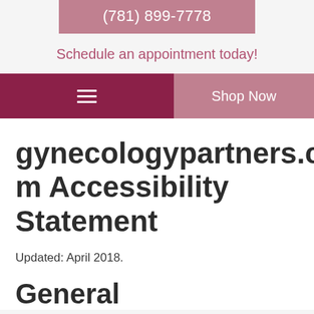(781) 899-7778
Schedule an appointment today!
≡  Shop Now
gynecologypartners.com Accessibility Statement
Updated: April 2018.
General